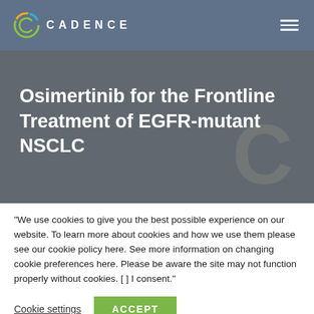CADENCE
Osimertinib for the Frontline Treatment of EGFR-mutant NSCLC
"We use cookies to give you the best possible experience on our website. To learn more about cookies and how we use them please see our cookie policy here. See more information on changing cookie preferences here. Please be aware the site may not function properly without cookies. [ ] I consent."
Cookie settings
ACCEPT